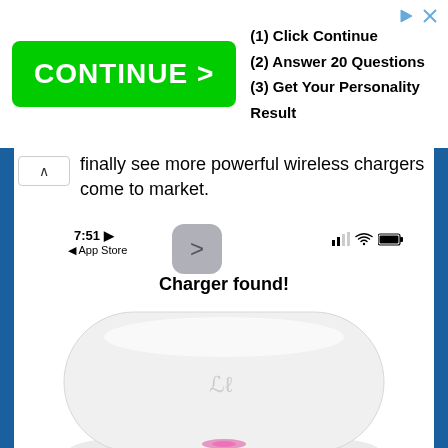[Figure (screenshot): Advertisement banner with green CONTINUE > button and steps: (1) Click Continue, (2) Answer 20 Questions, (3) Get Your Personality Result]
finally see more powerful wireless chargers come to market.
[Figure (screenshot): iPhone screenshot showing 7:51, App Store back button, navigation chevron button, wifi and battery status icons, and text 'Charger found!' with image of white wireless charging pad with pink LED indicator light]